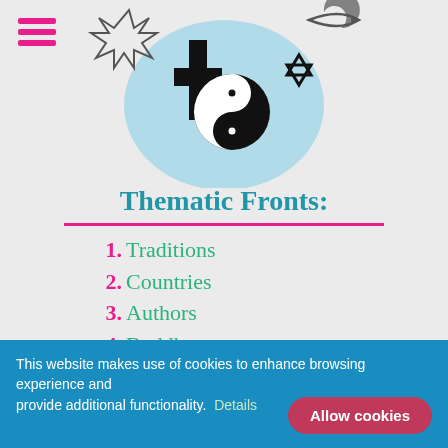[Figure (illustration): Religious symbols including a Christian cross, yin-yang symbol, Star of David, and other religious icons arranged in a circular composition with a light blue background]
Thematic Fronts:
1. Traditions
2. Countries
3. Authors
4. Buddhas
5. Sūtras
6. Philosophy
7. Culture
[Figure (photo): Partial photo strip showing people in a green outdoor/nature setting with mountains in background]
This website makes use of cookies to enhance browsing experience and provide additional functionality. Details
Allow cookies